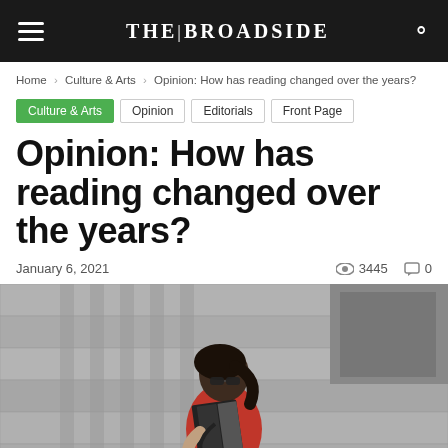THE|BROADSIDE
Home › Culture & Arts › Opinion: How has reading changed over the years?
Culture & Arts  Opinion  Editorials  Front Page
Opinion: How has reading changed over the years?
January 6, 2021    👁 3445  💬 0
[Figure (photo): Black and white photo of a young woman with sunglasses and a red jacket reading a book while leaning against a stone wall/building.]